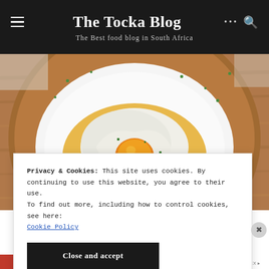The Tocka Blog — The Best food blog in South Africa
[Figure (photo): Top-down view of a white bowl with a fried egg on top of yellow rice, garnished with chopped green herbs, placed on a round wooden cutting board with a light gray background.]
Privacy & Cookies: This site uses cookies. By continuing to use this website, you agree to their use.
To find out more, including how to control cookies, see here:
Cookie Policy
Close and accept